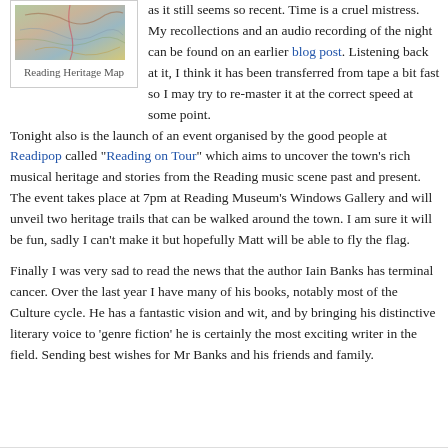[Figure (map): Reading Heritage Map — a colourful illustrated heritage map of Reading]
Reading Heritage Map
as it still seems so recent. Time is a cruel mistress. My recollections and an audio recording of the night can be found on an earlier blog post. Listening back at it, I think it has been transferred from tape a bit fast so I may try to re-master it at the correct speed at some point.
Tonight also is the launch of an event organised by the good people at Readipop called “Reading on Tour” which aims to uncover the town’s rich musical heritage and stories from the Reading music scene past and present. The event takes place at 7pm at Reading Museum’s Windows Gallery and will unveil two heritage trails that can be walked around the town. I am sure it will be fun, sadly I can’t make it but hopefully Matt will be able to fly the flag.
Finally I was very sad to read the news that the author Iain Banks has terminal cancer. Over the last year I have many of his books, notably most of the Culture cycle. He has a fantastic vision and wit, and by bringing his distinctive literary voice to ‘genre fiction’ he is certainly the most exciting writer in the field. Sending best wishes for Mr Banks and his friends and family.